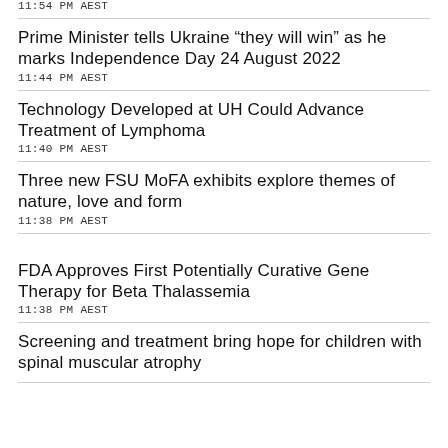11:54 PM AEST
Prime Minister tells Ukraine “they will win” as he marks Independence Day 24 August 2022
11:44 PM AEST
Technology Developed at UH Could Advance Treatment of Lymphoma
11:40 PM AEST
Three new FSU MoFA exhibits explore themes of nature, love and form
11:38 PM AEST
FDA Approves First Potentially Curative Gene Therapy for Beta Thalassemia
11:38 PM AEST
Screening and treatment bring hope for children with spinal muscular atrophy